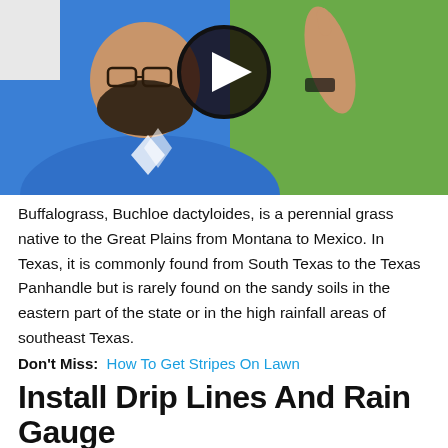[Figure (screenshot): Video thumbnail showing a man in a blue shirt pointing upward with a play button overlay, green grass in background]
Buffalograss, Buchloe dactyloides, is a perennial grass native to the Great Plains from Montana to Mexico. In Texas, it is commonly found from South Texas to the Texas Panhandle but is rarely found on the sandy soils in the eastern part of the state or in the high rainfall areas of southeast Texas.
Don't Miss:  How To Get Stripes On Lawn
Install Drip Lines And Rain Gauge